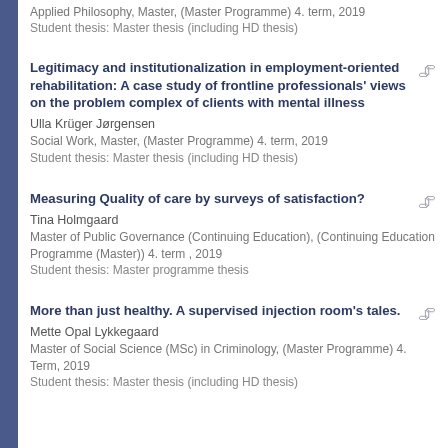Applied Philosophy, Master, (Master Programme) 4. term, 2019
Student thesis: Master thesis (including HD thesis)
Legitimacy and institutionalization in employment-oriented rehabilitation: A case study of frontline professionals' views on the problem complex of clients with mental illness
Ulla Krüger Jørgensen
Social Work, Master, (Master Programme) 4. term, 2019
Student thesis: Master thesis (including HD thesis)
Measuring Quality of care by surveys of satisfaction?
Tina Holmgaard
Master of Public Governance (Continuing Education), (Continuing Education Programme (Master)) 4. term , 2019
Student thesis: Master programme thesis
More than just healthy. A supervised injection room's tales.
Mette Opal Lykkegaard
Master of Social Science (MSc) in Criminology, (Master Programme) 4. Term, 2019
Student thesis: Master thesis (including HD thesis)